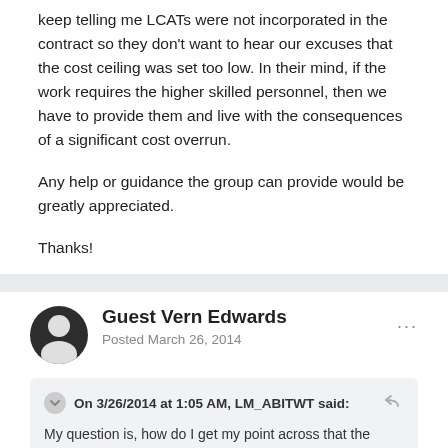keep telling me LCATs were not incorporated in the contract so they don't want to hear our excuses that the cost ceiling was set too low. In their mind, if the work requires the higher skilled personnel, then we have to provide them and live with the consequences of a significant cost overrun.
Any help or guidance the group can provide would be greatly appreciated.
Thanks!
Guest Vern Edwards
Posted March 26, 2014
On 3/26/2014 at 1:05 AM, LM_ABITWT said:
My question is, how do I get my point across that the Gov't is setting up the Contractor for a cost overrun as they continue to insist we hire additional (and more expensive) personnel to do this work? They continuously disregard the flaws in the LOE and